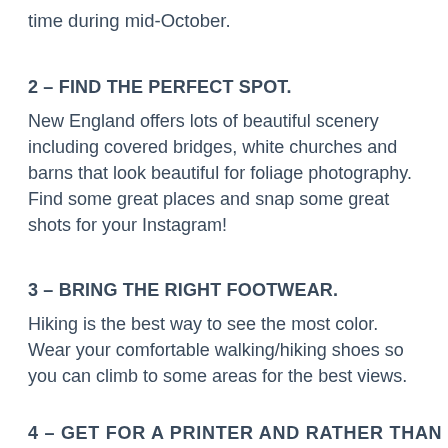time during mid-October.
2 – FIND THE PERFECT SPOT.
New England offers lots of beautiful scenery including covered bridges, white churches and barns that look beautiful for foliage photography. Find some great places and snap some great shots for your Instagram!
3 – BRING THE RIGHT FOOTWEAR.
Hiking is the best way to see the most color. Wear your comfortable walking/hiking shoes so you can climb to some areas for the best views.
4 – GET FOR A PRINTER AND RATHER THAN OR...